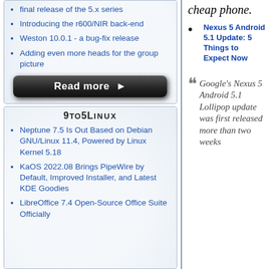final release of the 5.x series
Introducing the r600/NIR back-end
Weston 10.0.1 - a bug-fix release
Adding even more heads for the group picture
9to5Linux
Neptune 7.5 Is Out Based on Debian GNU/Linux 11.4, Powered by Linux Kernel 5.18
KaOS 2022.08 Brings PipeWire by Default, Improved Installer, and Latest KDE Goodies
LibreOffice 7.4 Open-Source Office Suite Officially
cheap phone.
Nexus 5 Android 5.1 Update: 5 Things to Expect Now
Google's Nexus 5 Android 5.1 Lollipop update was first released more than two weeks